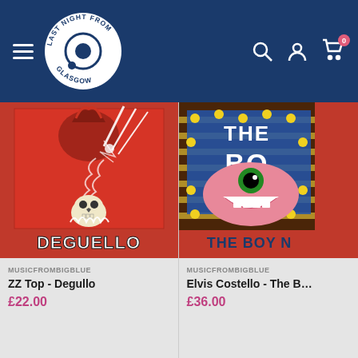Last Night From Glasgow - online store header with navigation
[Figure (screenshot): ZZ Top - Degullo album cover: red background with skull, lightning bolts, 'Deguello' text in flame style]
MUSICFROMBIGBLUE
ZZ Top - Degullo
£22.00
[Figure (screenshot): Elvis Costello - The Boy Named If album cover: colorful cartoon style with 'THE BOY N...' text visible]
MUSICFROMBIGBLUE
Elvis Costello - The B...
£36.00